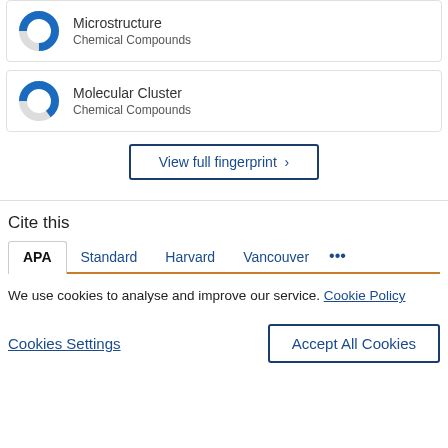[Figure (donut-chart): Donut chart icon for Microstructure, approximately 75% filled in blue]
Microstructure
Chemical Compounds
[Figure (donut-chart): Donut chart icon for Molecular Cluster, approximately 65% filled in blue]
Molecular Cluster
Chemical Compounds
View full fingerprint >
Cite this
APA  Standard  Harvard  Vancouver  ...
We use cookies to analyse and improve our service. Cookie Policy
Cookies Settings   Accept All Cookies